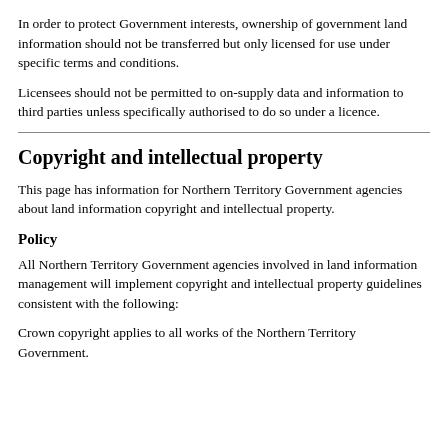In order to protect Government interests, ownership of government land information should not be transferred but only licensed for use under specific terms and conditions.
Licensees should not be permitted to on-supply data and information to third parties unless specifically authorised to do so under a licence.
Copyright and intellectual property
This page has information for Northern Territory Government agencies about land information copyright and intellectual property.
Policy
All Northern Territory Government agencies involved in land information management will implement copyright and intellectual property guidelines consistent with the following:
Crown copyright applies to all works of the Northern Territory Government.